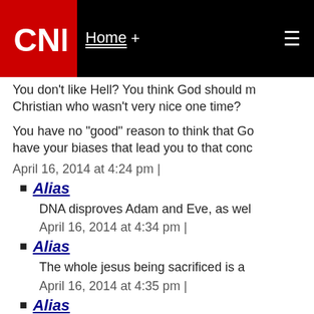CNN | Home +
You don't like Hell? You think God should m... Christian who wasn't very nice one time?
You have no "good" reason to think that Go... have your biases that lead you to that conc...
April 16, 2014 at 4:24 pm |
Alias
DNA disproves Adam and Eve, as wel...
April 16, 2014 at 4:34 pm |
Alias
The whole jesus being sacrificed is a...
April 16, 2014 at 4:35 pm |
Alias
There are so many different interpreta... see how you camn say it is the word o...